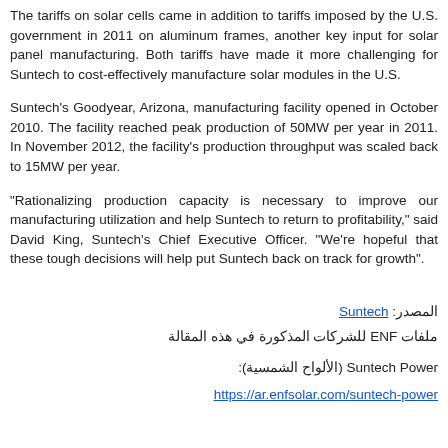The tariffs on solar cells came in addition to tariffs imposed by the U.S. government in 2011 on aluminum frames, another key input for solar panel manufacturing. Both tariffs have made it more challenging for Suntech to cost-effectively manufacture solar modules in the U.S.
Suntech's Goodyear, Arizona, manufacturing facility opened in October 2010. The facility reached peak production of 50MW per year in 2011. In November 2012, the facility's production throughput was scaled back to 15MW per year.
"Rationalizing production capacity is necessary to improve our manufacturing utilization and help Suntech to return to profitability," said David King, Suntech's Chief Executive Officer. "We're hopeful that these tough decisions will help put Suntech back on track for growth".
المصدر: Suntech
ملفات ENF للشركات المذكورة في هذه المقالة
Suntech Power (الألواح الشمسية):
https://ar.enfsolar.com/suntech-power